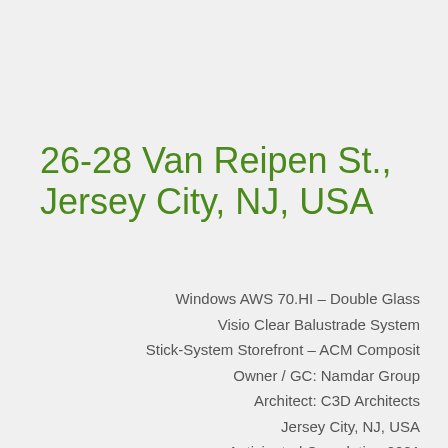26-28 Van Reipen St., Jersey City, NJ, USA
Windows AWS 70.HI – Double Glass
Visio Clear Balustrade System
Stick-System Storefront – ACM Composit
Owner / GC: Namdar Group
Architect: C3D Architects
Jersey City, NJ, USA
Anticipated Completion 2021